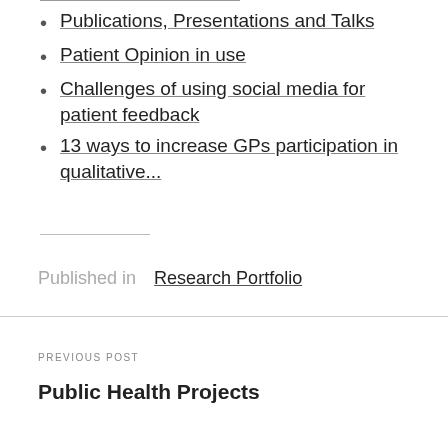Publications, Presentations and Talks
Patient Opinion in use
Challenges of using social media for patient feedback
13 ways to increase GPs participation in qualitative...
Published in   Research Portfolio
PREVIOUS POST
Public Health Projects